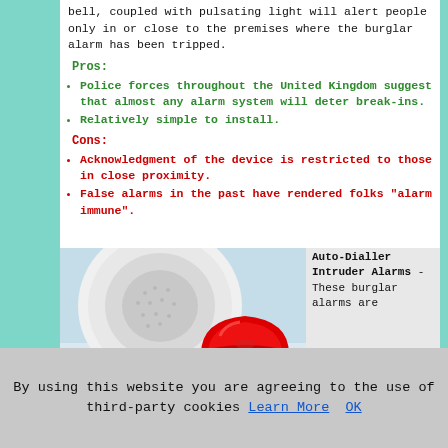bell, coupled with pulsating light will alert people only in or close to the premises where the burglar alarm has been tripped.
Pros:
Police forces throughout the United Kingdom suggest that almost any alarm system will deter break-ins.
Relatively simple to install.
Cons:
Acknowledgment of the device is restricted to those in close proximity.
False alarms in the past have rendered folks "alarm immune".
[Figure (photo): Close-up photo of a white circular ceiling-mounted speaker/alarm device and a red dome-shaped fire/burglar alarm device on a light surface.]
Auto-Dialler Intruder Alarms - These burglar alarms are
By using this website you are agreeing to the use of third-party cookies Learn More OK